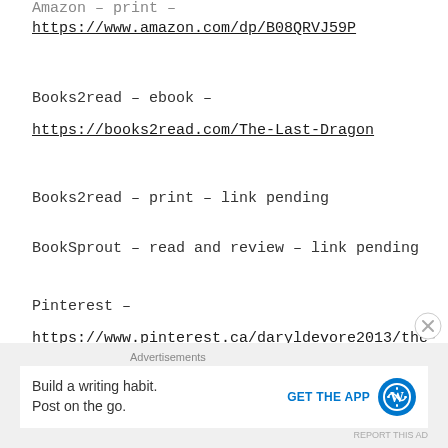Amazon – print –
https://www.amazon.com/dp/B08QRVJ59P
Books2read – ebook –
https://books2read.com/The-Last-Dragon
Books2read – print – link pending
BookSprout – read and review – link pending
Pinterest –
https://www.pinterest.ca/daryldevore2013/the-
Advertisements
Build a writing habit.
Post on the go.
GET THE APP